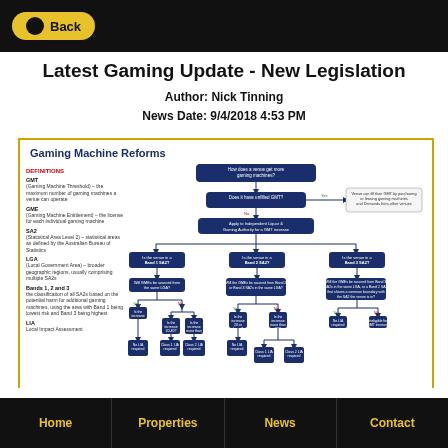Back
Latest Gaming Update - New Legislation
Author: Nick Tinning
News Date: 9/4/2018 4:53 PM
[Figure (flowchart): Gaming Machine Reforms flowchart showing how a venue can get more gaming machines, with decision nodes for Band 1/2/3 SA2 areas, GME sourcing questions, and outcomes including LIA requirements and eligibility for GMT increase. Includes a definitions column listing GMT, GME, SA2, LGA, Bands 1-2-3, LIA.]
Home | Properties | News | Contact